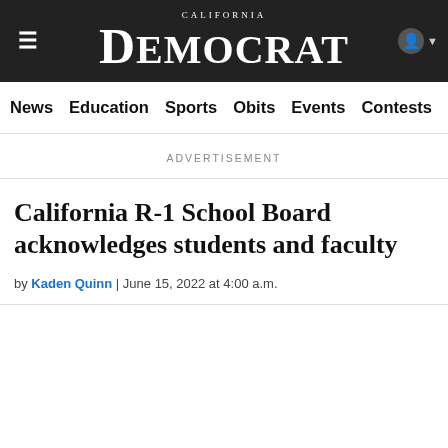California Democrat
News | Education | Sports | Obits | Events | Contests | Cla
ADVERTISEMENT
California R-1 School Board acknowledges students and faculty
by Kaden Quinn | June 15, 2022 at 4:00 a.m.